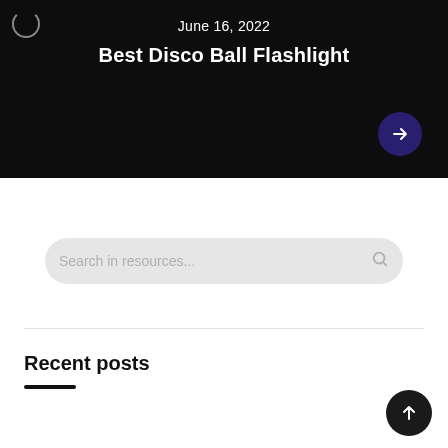June 16, 2022
Best Disco Ball Flashlight
Search in resources...
Recent posts